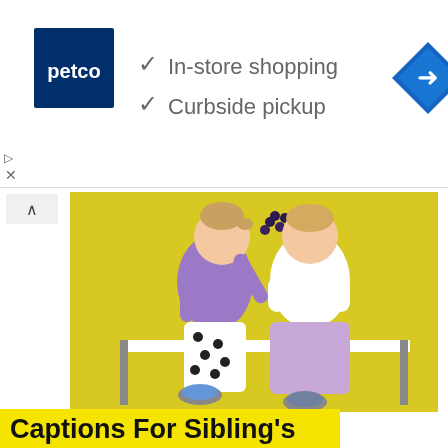[Figure (infographic): Petco advertisement banner with logo, checkmarks for In-store shopping and Curbside pickup, and a navigation diamond icon]
[Figure (photo): Two young toddlers sitting on a white bench against a yellow wall. The left child wears a purple cardigan and black-and-white polka dot pants, holds grapes above the other child. The right child wears a white shirt and lavender pants.]
Captions For Sibling's